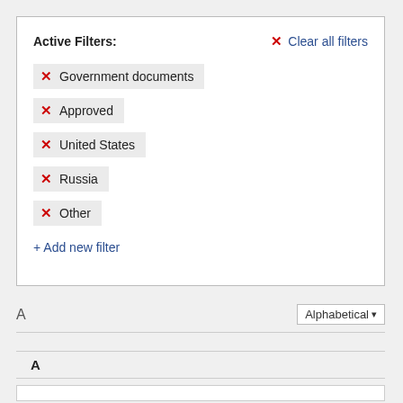Active Filters:
✕ Clear all filters
✕ Government documents
✕ Approved
✕ United States
✕ Russia
✕ Other
+ Add new filter
A
Alphabetical▼
A